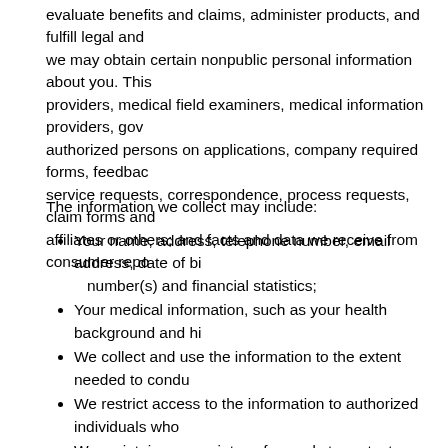evaluate benefits and claims, administer products, and fulfill legal and regulatory obligations, we may obtain certain nonpublic personal information about you. This information comes from providers, medical field examiners, medical information providers, government records, authorized persons on applications, company required forms, feedback forms, telephone service requests, correspondence, process requests, claim forms and other transactions with affiliates or others; and facts and data we receive from consumer reporting agencies.
The information we collect may include:
Your name, address, telephone number, email address, date of birth, Social Security number(s) and financial statistics;
Your medical information, such as your health background and history;
We collect and use the information to the extent needed to conduct our business;
We restrict access to the information to authorized individuals who need it;
We maintain appropriate safeguards to protect information about you;
We will verify that any persons requesting information about you are entitled to receive it. For example, we may give information to heirs/beneficiaries concerning policy proceeds following receipt of notice of the death of an insured or an annuitant;
We do not share nonpublic personal information about you outside our companies except as required or permitted by applicable law;